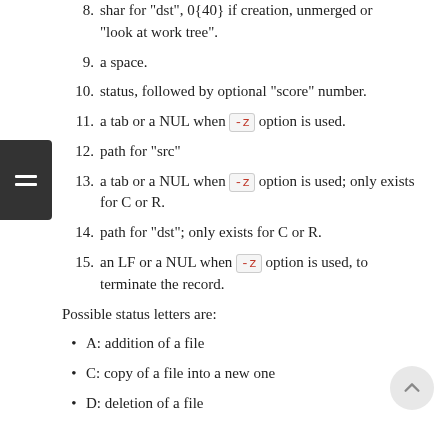8. shar for "dst", 0{40} if creation, unmerged or "look at work tree".
9. a space.
10. status, followed by optional "score" number.
11. a tab or a NUL when -z option is used.
12. path for "src"
13. a tab or a NUL when -z option is used; only exists for C or R.
14. path for "dst"; only exists for C or R.
15. an LF or a NUL when -z option is used, to terminate the record.
Possible status letters are:
A: addition of a file
C: copy of a file into a new one
D: deletion of a file